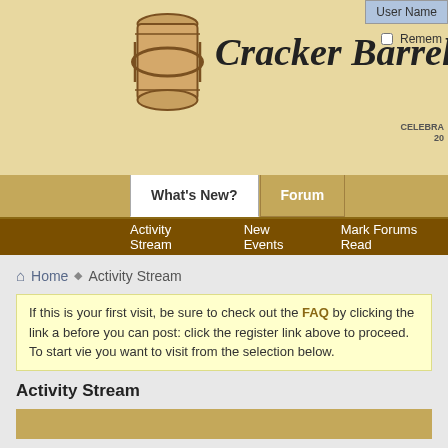Cracker Barrel
User Name
Remember
CELEBRATING 20
What's New?  Forum
Activity Stream  New Events  Mark Forums Read
Home ► Activity Stream
If this is your first visit, be sure to check out the FAQ by clicking the link a before you can post: click the register link above to proceed. To start vie you want to visit from the selection below.
Activity Stream
FredK replied to a thread Sarah Palin just lost in P They have a new system 1, 2, 3 for voter choice. Eliminate th either of the top candidates and reassign the vote...
▸ see more
2 replies | 38 view(s)